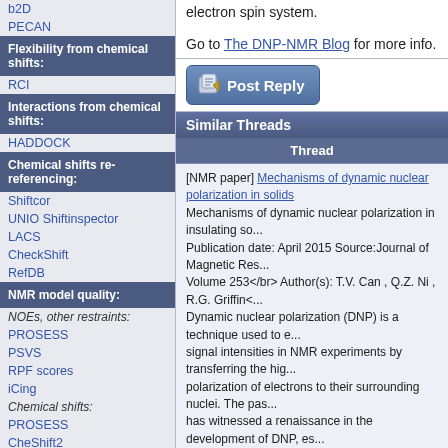electron spin system.
Go to The DNP-NMR Blog for more info.
b2D
PECAN
Flexibility from chemical shifts:
RCI
Interactions from chemical shifts:
HADDOCK
Chemical shifts re-referencing:
Shiftcor
UNIO Shiftinspector
LACS
CheckShift
RefDB
NMR model quality:
NOEs, other restraints:
PROSESS
PSVS
RPF scores
iCing
Chemical shifts:
PROSESS
CheShift2
Vasco
iCing
RDCs:
DC
Anisofit
Pseudocontact shifts:
Anisofit
[Figure (screenshot): Post Reply button with pencil/paper icon]
Similar Threads
| Thread |
| --- |
| [NMR paper] Mechanisms of dynamic nuclear polarization in solids
Mechanisms of dynamic nuclear polarization in insulating so... Publication date: April 2015 Source:Journal of Magnetic Res... Volume 253</br> Author(s): T.V. Can , Q.Z. Ni , R.G. Griffin<... Dynamic nuclear polarization (DNP) is a technique used to e... signal intensities in NMR experiments by transferring the hig... polarization of electrons to their surrounding nuclei. The pas... has witnessed a renaissance in the development of DNP, es... high magnetic fields, and its application in several areas incl... biophysics, chemistry, structural... |
| Dynamic nuclear polarization of a glassy matrix prepared by mechanochemical amorphization of crystalline substances
From The DNP-NMR Blog: Dynamic nuclear polarization of a... matrix prepared by solid state mechanochemical amorphiz... |